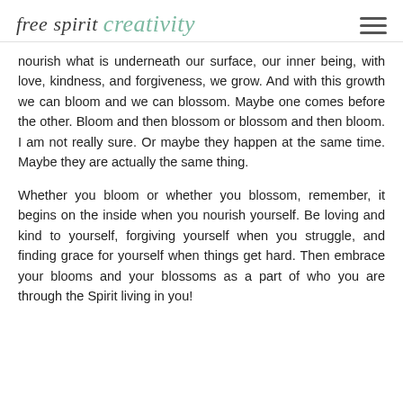free spirit creativity
nourish what is underneath our surface, our inner being, with love, kindness, and forgiveness, we grow. And with this growth we can bloom and we can blossom. Maybe one comes before the other. Bloom and then blossom or blossom and then bloom. I am not really sure. Or maybe they happen at the same time. Maybe they are actually the same thing.
Whether you bloom or whether you blossom, remember, it begins on the inside when you nourish yourself. Be loving and kind to yourself, forgiving yourself when you struggle, and finding grace for yourself when things get hard. Then embrace your blooms and your blossoms as a part of who you are through the Spirit living in you!